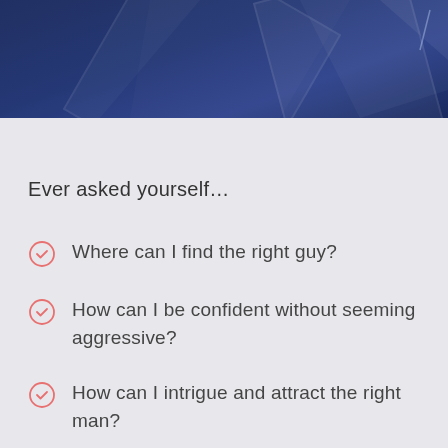[Figure (illustration): Dark navy blue geometric header background with triangular polygon shapes]
Ever asked yourself…
Where can I find the right guy?
How can I be confident without seeming aggressive?
How can I intrigue and attract the right man?